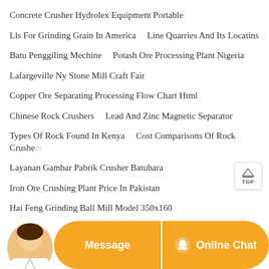Concrete Crusher Hydrolex Equipment Portable
Lls For Grinding Grain In America    Line Quarries And Its Locatins
Batu Penggiling Mechine    Potash Ore Processing Plant Nigeria
Lafargeville Ny Stone Mill Craft Fair
Copper Ore Separating Processing Flow Chart Html
Chinese Rock Crushers    Lead And Zinc Magnetic Separator
Types Of Rock Found In Kenya    Cost Comparisons Of Rock Crushers
Layanan Gambar Pabrik Crusher Batubara
Iron Ore Crushing Plant Price In Pakistan
Hai Feng Grinding Ball Mill Model 350x160
[Figure (other): Customer service representative avatar at bottom left, partially visible]
[Figure (other): TOP button (back to top navigation button) at right side]
[Figure (other): Orange bottom bar with Message button and Online Chat button with headset icon]